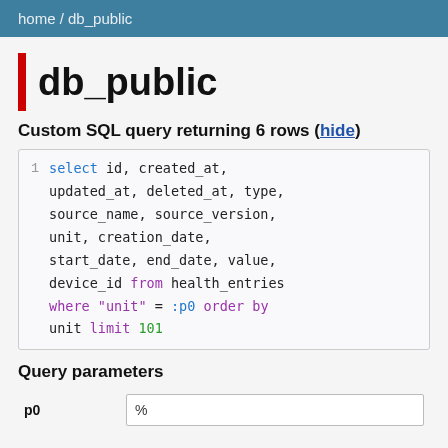home / db_public
db_public
Custom SQL query returning 6 rows (hide)
select id, created_at, updated_at, deleted_at, type, source_name, source_version, unit, creation_date, start_date, end_date, value, device_id from health_entries where "unit" = :p0 order by unit limit 101
Query parameters
|  | value |
| --- | --- |
| p0 | % |